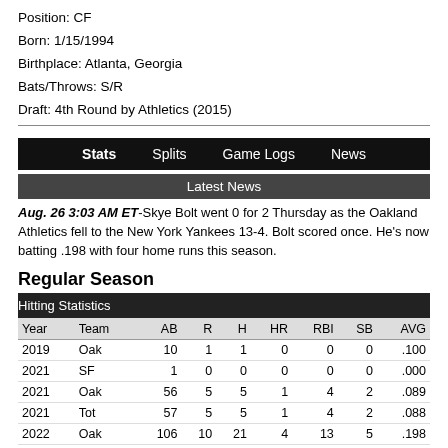Position: CF
Born: 1/15/1994
Birthplace: Atlanta, Georgia
Bats/Throws: S/R
Draft: 4th Round by Athletics (2015)
Stats  Splits  Game Logs  News
Latest News
Aug. 26 3:03 AM ET-Skye Bolt went 0 for 2 Thursday as the Oakland Athletics fell to the New York Yankees 13-4. Bolt scored once. He's now batting .198 with four home runs this season.
Regular Season
| Year | Team | AB | R | H | HR | RBI | SB | AVG |
| --- | --- | --- | --- | --- | --- | --- | --- | --- |
| 2019 | Oak | 10 | 1 | 1 | 0 | 0 | 0 | .100 |
| 2021 | SF | 1 | 0 | 0 | 0 | 0 | 0 | .000 |
| 2021 | Oak | 56 | 5 | 5 | 1 | 4 | 2 | .089 |
| 2021 | Tot | 57 | 5 | 5 | 1 | 4 | 2 | .088 |
| 2022 | Oak | 106 | 10 | 21 | 4 | 13 | 5 | .198 |